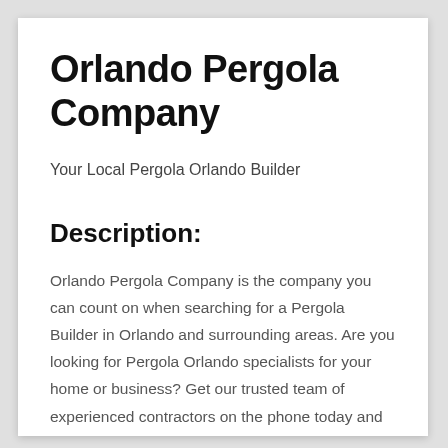Orlando Pergola Company
Your Local Pergola Orlando Builder
Description:
Orlando Pergola Company is the company you can count on when searching for a Pergola Builder in Orlando and surrounding areas. Are you looking for Pergola Orlando specialists for your home or business? Get our trusted team of experienced contractors on the phone today and let’s get started on creating a design that flatters the structure of your existing home. These days it can be hard to locate a reliable company with exceptional craftsmanship. You